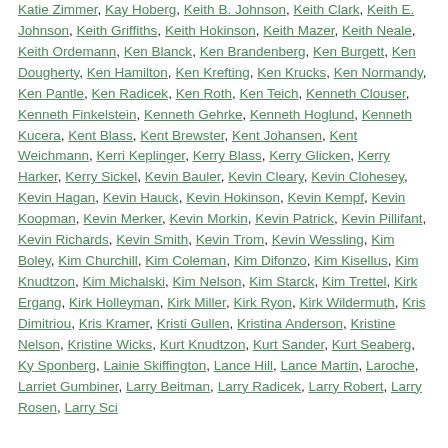Katie Zimmer, Kay Hoberg, Keith B. Johnson, Keith Clark, Keith E. Johnson, Keith Griffiths, Keith Hokinson, Keith Mazer, Keith Neale, Keith Ordemann, Ken Blanck, Ken Brandenberg, Ken Burgett, Ken Dougherty, Ken Hamilton, Ken Krefting, Ken Krucks, Ken Normandy, Ken Pantle, Ken Radicek, Ken Roth, Ken Teich, Kenneth Clouser, Kenneth Finkelstein, Kenneth Gehrke, Kenneth Hoglund, Kenneth Kucera, Kent Blass, Kent Brewster, Kent Johansen, Kent Weichmann, Kerri Keplinger, Kerry Blass, Kerry Glicken, Kerry Harker, Kerry Sickel, Kevin Bauler, Kevin Cleary, Kevin Clohesey, Kevin Hagan, Kevin Hauck, Kevin Hokinson, Kevin Kempf, Kevin Koopman, Kevin Merker, Kevin Morkin, Kevin Patrick, Kevin Pillifant, Kevin Richards, Kevin Smith, Kevin Trom, Kevin Wessling, Kim Boley, Kim Churchill, Kim Coleman, Kim Difonzo, Kim Kisellus, Kim Knudtzon, Kim Michalski, Kim Nelson, Kim Starck, Kim Trettel, Kirk Ergang, Kirk Holleyman, Kirk Miller, Kirk Ryon, Kirk Wildermuth, Kris Dimitriou, Kris Kramer, Kristi Gullen, Kristina Anderson, Kristine Nelson, Kristine Wicks, Kurt Knudtzon, Kurt Sander, Kurt Seaberg, Ky Sponberg, Lainie Skiffington, Lance Hill, Lance Martin, Laroche, Larriet Gumbiner, Larry Beitman, Larry Radicek, Larry Robert, Larry Rosen, Larry Sci...